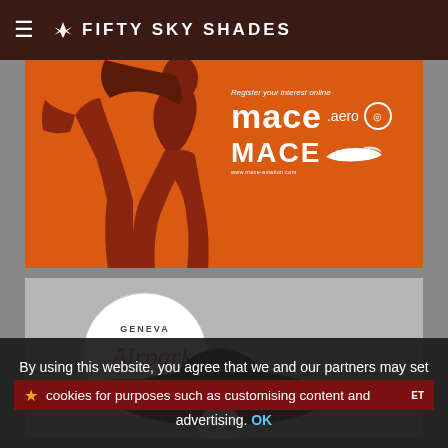FIFTY SKY SHADES
[Figure (illustration): Orange/red banner advertisement for MACE.aero showing a silhouetted figure in red on the left side and the MACE.aero logo with tagline 'Register your interest online' on the right side against an orange background]
[Figure (illustration): Gray banner advertisement for Geneva Airpark featuring the Geneva Airpark circular logo on the upper left and an illustrated woman wearing a wide-brimmed black hat with red band on the lower portion]
By using this website, you agree that we and our partners may set cookies for purposes such as customising content and advertising. OK